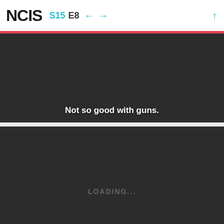NCIS S15 E8
[Figure (screenshot): Dark video frame from NCIS S15E8 with subtitle text: 'Not so good with guns.']
[Figure (screenshot): Dark video frame from NCIS S15E8 with LOADING... text in center and subtitle text: 'her fugue had ended,']
[Figure (screenshot): Dark video frame from NCIS S15E8, partially visible at bottom of page]